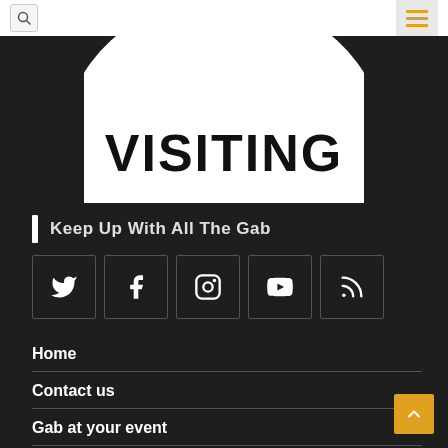Navigation bar with search icon and hamburger menu
[Figure (logo): Circular logo with text 'VISITING' in bold black letters on white circle background, set against dark background]
Keep Up With All The Gab
[Figure (infographic): Row of 5 social media icon boxes: Twitter, Facebook, Instagram, YouTube, RSS feed]
Home
Contact us
Gab at your event
Advertise